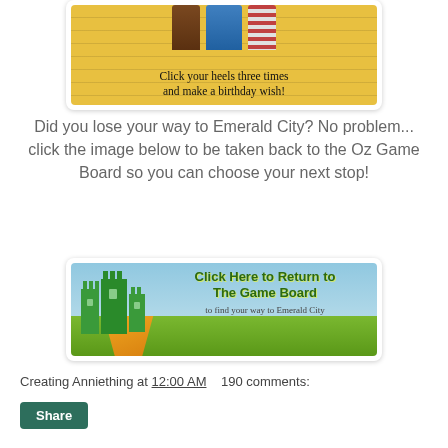[Figure (illustration): Cropped birthday card image showing feet/legs of Wizard of Oz characters on yellow brick road with text 'Click your heels three times and make a birthday wish!']
Did you lose your way to Emerald City? No problem... click the image below to be taken back to the Oz Game Board so you can choose your next stop!
[Figure (illustration): Banner image with Oz castle and yellow brick road path, text 'Click Here to Return to The Game Board to find your way to Emerald City']
Creating Anniething at 12:00 AM   190 comments: